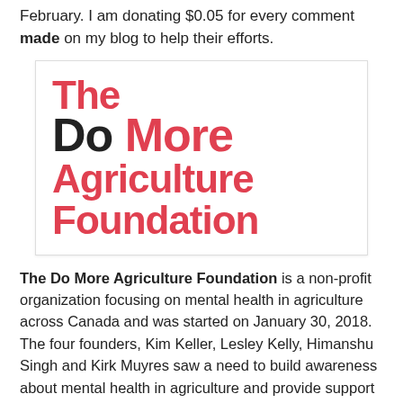February. I am donating $0.05 for every comment made on my blog to help their efforts.
[Figure (logo): The Do More Agriculture Foundation logo — bold typographic logo with 'The' in red, 'Do More' with 'Do' in black and 'More' in red, 'Agriculture' in red, and 'Foundation' in red, all in heavy sans-serif type.]
The Do More Agriculture Foundation is a non-profit organization focusing on mental health in agriculture across Canada and was started on January 30, 2018. The four founders, Kim Keller, Lesley Kelly, Himanshu Singh and Kirk Muyres saw a need to build awareness about mental health in agriculture and provide support and resources to those impacted.
Mental health is a huge issue for all communities, including those in agriculture. Farmers are known to be hard workers